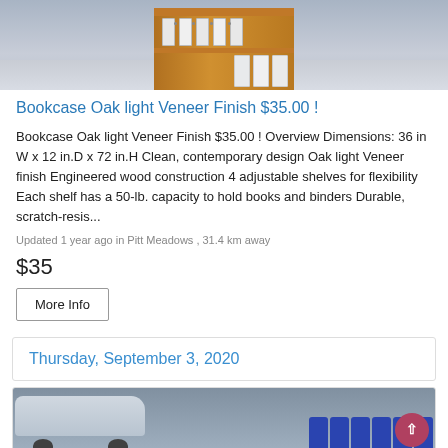[Figure (photo): Photo of a wooden bookcase with white binders on shelves, in an office or room setting with grey flooring.]
Bookcase Oak light Veneer Finish $35.00 !
Bookcase Oak light Veneer Finish $35.00 ! Overview Dimensions: 36 in W x 12 in.D x 72 in.H Clean, contemporary design Oak light Veneer finish Engineered wood construction 4 adjustable shelves for flexibility Each shelf has a 50-lb. capacity to hold books and binders Durable, scratch-resis...
Updated 1 year ago in Pitt Meadows , 31.4 km away
$35
More Info
Thursday, September 3, 2020
[Figure (photo): Photo showing blue chairs and a vehicle, likely a listing image for another item.]